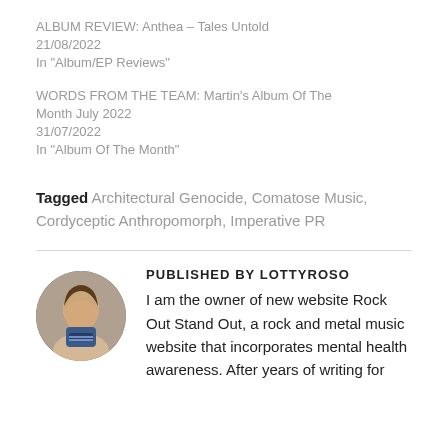ALBUM REVIEW: Anthea – Tales Untold
21/08/2022
In "Album/EP Reviews"
WORDS FROM THE TEAM: Martin's Album Of The Month July 2022
31/07/2022
In "Album Of The Month"
Tagged Architectural Genocide, Comatose Music, Cordyceptic Anthropomorph, Imperative PR
PUBLISHED BY LOTTYROSO
I am the owner of new website Rock Out Stand Out, a rock and metal music website that incorporates mental health awareness. After years of writing for